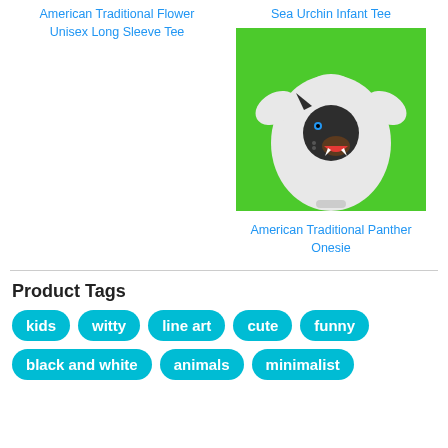American Traditional Flower Unisex Long Sleeve Tee
Sea Urchin Infant Tee
[Figure (photo): Baby onesie on green background with American Traditional Panther design]
American Traditional Panther Onesie
Product Tags
kids
witty
line art
cute
funny
black and white
animals
minimalist